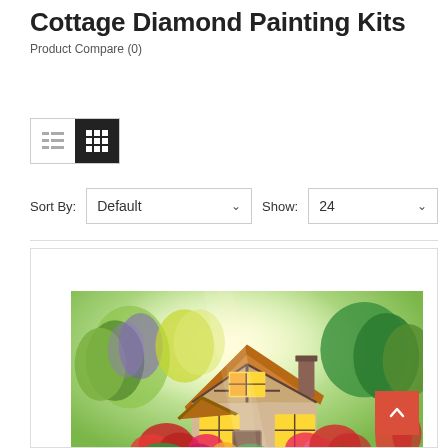Cottage Diamond Painting Kits
Product Compare (0)
[Figure (screenshot): View toggle buttons: list view (unselected) and grid view (selected, dark background)]
Sort By: Default  Show: 24
[Figure (photo): Colorful illustrated cottage with thatched roof surrounded by vibrant flowers, trees, and a white arched bridge over a river. A scroll-to-top button (orange/red with upward chevron) is overlaid in the lower right corner.]